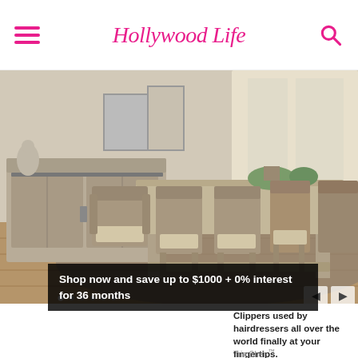HollywoodLife
[Figure (photo): Dining room furniture advertisement showing a rustic wooden dining table with chairs and a sideboard with barn-door style doors, plants on table, area rug on floor. Carousel navigation dots and arrows visible at bottom.]
Shop now and save up to $1000 + 0% interest for 36 months
Clippers used by hairdressers all over the world finally at your fingertips.
TrimSher ™